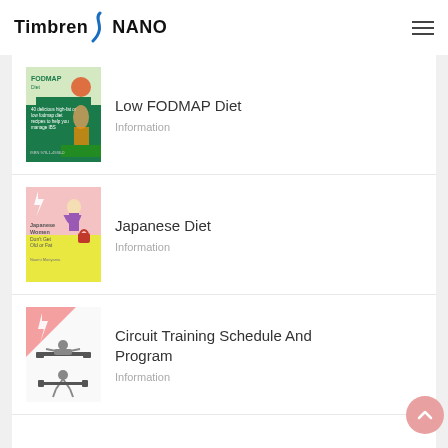Timbren NANO
Low FODMAP Diet — Information
Japanese Diet — Information
Circuit Training Schedule And Program — Information